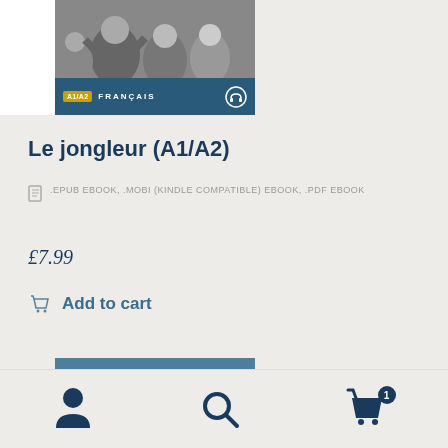[Figure (photo): Book cover for Le jongleur A1/A2 French easy reader, showing crowd photo, level badge A1/A2, FRANÇAIS label and headphone icon on dark blue background]
Le jongleur (A1/A2)
.EPUB EBOOK, .MOBI (KINDLE COMPATIBLE) EBOOK, .PDF EBOOK
£7.99
Add to cart
[Figure (photo): Partial book cover showing EASY READERS label with French flag on steel blue background]
[Figure (other): Bottom navigation bar with user icon, search icon, and shopping cart icon with badge showing 1]